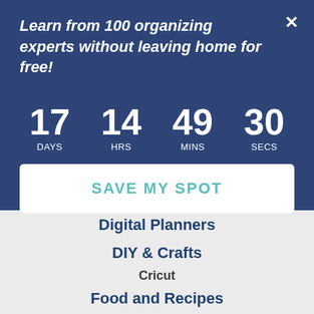Learn from 100 organizing experts without leaving home for free!
17 DAYS  14 HRS  49 MINS  30 SECS
SAVE MY SPOT
Digital Planners
DIY & Crafts
Cricut
Food and Recipes
Free Printables
Gift Guides
How to Blog
Labels